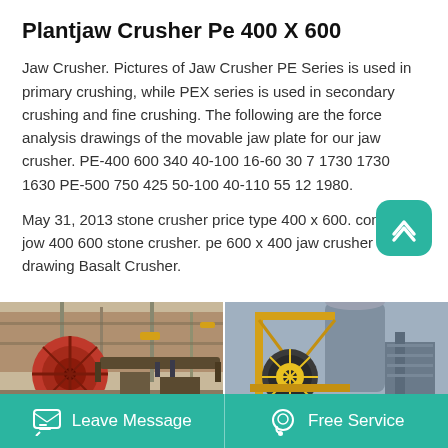Plantjaw Crusher Pe 400 X 600
Jaw Crusher. Pictures of Jaw Crusher PE Series is used in primary crushing, while PEX series is used in secondary crushing and fine crushing. The following are the force analysis drawings of the movable jaw plate for our jaw crusher. PE-400 600 340 40-100 16-60 30 7 1730 1730 1630 PE-500 750 425 50-100 40-110 55 12 1980.
May 31, 2013 stone crusher price type 400 x 600. cone 900 jow 400 600 stone crusher. pe 600 x 400 jaw crusher drawing Basalt Crusher.
[Figure (photo): Industrial crusher equipment facility with large red rotating machinery and steel structures]
[Figure (photo): Yellow industrial crane/mining machine with large wheel assembly]
Leave Message   Free Service